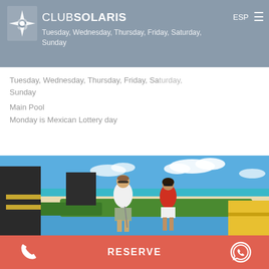Club Solaris — ESP navigation header
Tuesday, Wednesday, Thursday, Friday, Saturday, Sunday
Main Pool
Monday is Mexican Lottery day
[Figure (photo): Two people playing mini golf on a resort course with a Caribbean beach and blue sky in the background. A man in a white polo shirt and plaid shorts is putting while a woman in a red polo and white shorts stands behind him. Large dark geometric sculptures are visible on the left.]
Phone | RESERVE | WhatsApp